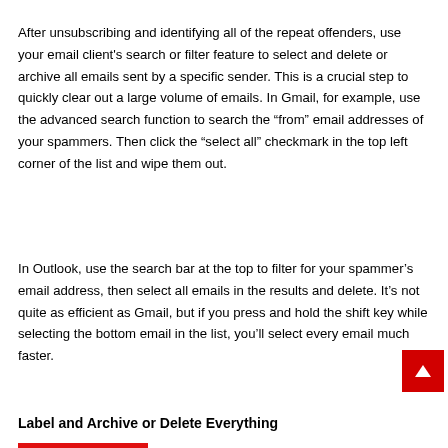After unsubscribing and identifying all of the repeat offenders, use your email client's search or filter feature to select and delete or archive all emails sent by a specific sender. This is a crucial step to quickly clear out a large volume of emails. In Gmail, for example, use the advanced search function to search the “from” email addresses of your spammers. Then click the “select all” checkmark in the top left corner of the list and wipe them out.
In Outlook, use the search bar at the top to filter for your spammer’s email address, then select all emails in the results and delete. It’s not quite as efficient as Gmail, but if you press and hold the shift key while selecting the bottom email in the list, you’ll select every email much faster.
Label and Archive or Delete Everything